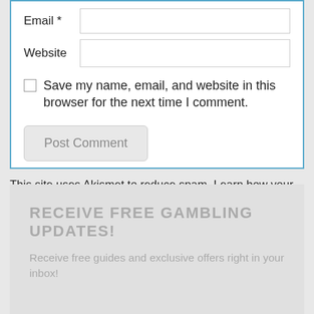Email *
Website
Save my name, email, and website in this browser for the next time I comment.
Post Comment
This site uses Akismet to reduce spam. Learn how your comment data is processed.
RECEIVE FREE GAMBLING UPDATES!
Receive free guides and exclusive offers right in your inbox!